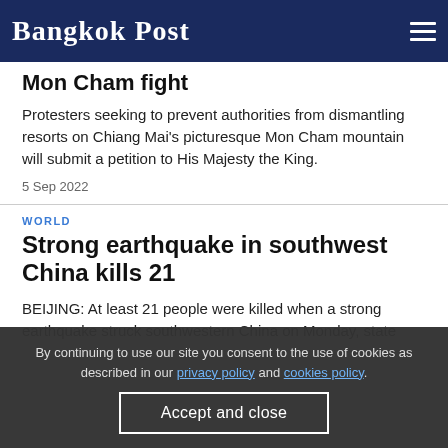Bangkok Post
Mon Cham fight
Protesters seeking to prevent authorities from dismantling resorts on Chiang Mai's picturesque Mon Cham mountain will submit a petition to His Majesty the King.
5 Sep 2022
WORLD
Strong earthquake in southwest China kills 21
BEIJING: At least 21 people were killed when a strong earthquake struck southwestern China on Monday, state
By continuing to use our site you consent to the use of cookies as described in our privacy policy and cookies policy.
Accept and close